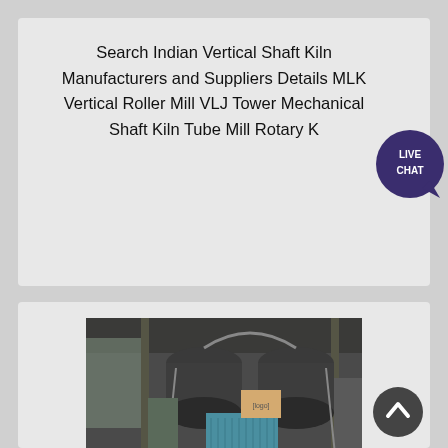Search Indian Vertical Shaft Kiln Manufacturers and Suppliers Details MLK Vertical Roller Mill VLJ Tower Mechanical Shaft Kiln Tube Mill Rotary K...
[Figure (photo): Industrial machinery photo showing vertical shaft kiln or mill equipment with cylindrical metal components, pipes, and blue/teal colored equipment in an industrial setting]